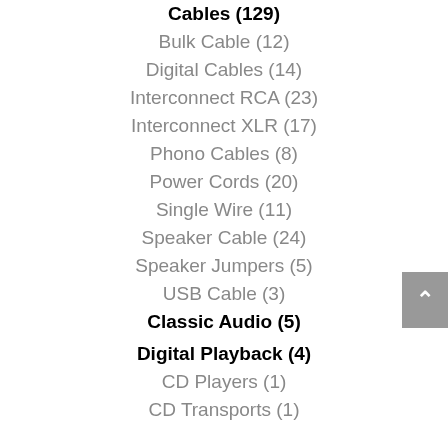Cables (129)
Bulk Cable (12)
Digital Cables (14)
Interconnect RCA (23)
Interconnect XLR (17)
Phono Cables (8)
Power Cords (20)
Single Wire (11)
Speaker Cable (24)
Speaker Jumpers (5)
USB Cable (3)
Classic Audio (5)
Digital Playback (4)
CD Players (1)
CD Transports (1)
DAC's (1)
Media Servers (1)
Parts (90)
AC Connectors (55)
Banana's (8)
RCA (15)
Spades (6)